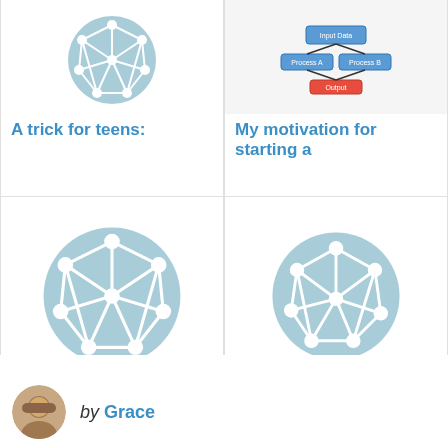[Figure (illustration): Card with circular network graph icon on light blue background, partially cropped at top]
A trick for teens:
[Figure (screenshot): Card with flowchart/diagram screenshot on white background, partially cropped at top]
My motivation for starting a
[Figure (illustration): Card with circular network graph icon on light blue background]
Hands of My Father: A
[Figure (illustration): Card with circular network graph icon on light blue background]
The inner mind of a 7th
[Figure (photo): Author avatar photo of Grace, circular crop]
by Grace
I'm a "dirt-ologist". I love studying the interface of human and environment interaction, often asking the rather rhetorical question: "Do we change the landscape, or does the landscape change us?"